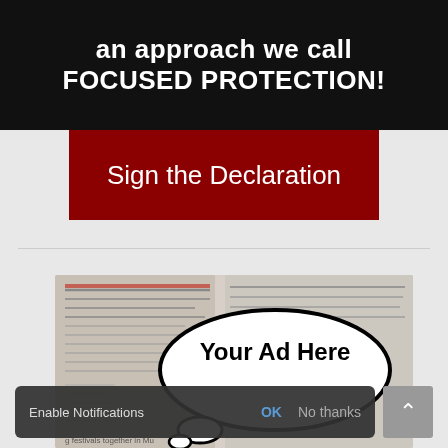an approach we call FOCUSED PROTECTION!
Sign the Declaration
[Figure (photo): Advertisement placeholder image showing a newspaper background with a speech bubble containing the text 'Your Ad Here' in bold black text on white oval bubble]
Enable Notifications  OK  No thanks